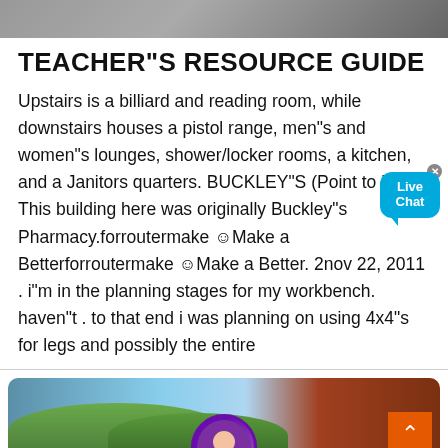[Figure (photo): Top partial image of an outdoor scene, grey/dark tones]
TEACHER"S RESOURCE GUIDE
Upstairs is a billiard and reading room, while downstairs houses a pistol range, men"s and women"s lounges, shower/locker rooms, a kitchen, and a Janitors quarters. BUCKLEY"S (Point to it.) This building here was originally Buckley"s Pharmacy.forroutermake ☺Make a Betterforroutermake ☺Make a Better. 2nov 22, 2011 . i"m in the planning stages for my workbench. haven"t . to that end i was planning on using 4x4"s for legs and possibly the entire
[Figure (screenshot): Live Chat bubble overlay in upper right corner]
[Figure (photo): Bottom section showing outdoor industrial scene with chat UI overlay including avatar, Nachricht hinterlassen and Online chatten buttons]